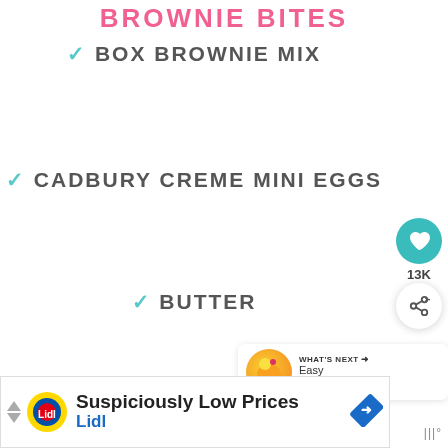BROWNIE BITES
✓ BOX BROWNIE MIX
✓ CADBURY CREME MINI EGGS
✓ BUTTER
✓ POWERED SUGAR
[Figure (other): Heart/like button showing 13K likes and a share button]
[Figure (other): What's Next thumbnail with text: Easy Pineapple...]
[Figure (other): Lidl advertisement banner: Suspiciously Low Prices / Lidl]